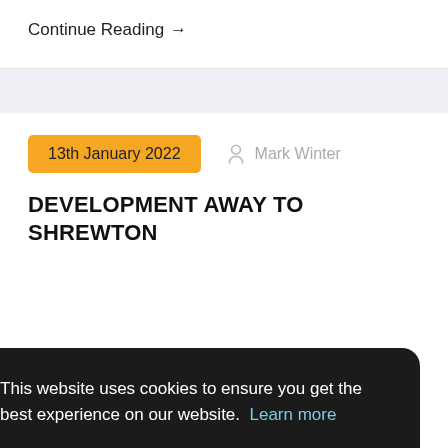Continue Reading →
13th January 2022  Mark Winter
DEVELOPMENT AWAY TO SHREWTON
This website uses cookies to ensure you get the best experience on our website.  Learn more
Got it!
in October, but with no less than 6 from